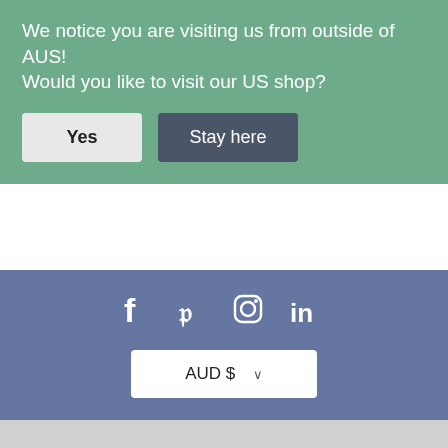We notice you are visiting us from outside of AUS! Would you like to visit our US shop?
Yes
Stay here
[Figure (infographic): Social media icons: Facebook, Pinterest, Instagram, LinkedIn]
AUD $ ∨
© 2022 Boboandboo PtyLtd.
[Figure (infographic): Payment method badges: AMEX, Apple Pay, Google Pay, JCB, Mastercard, PayPal, OPay, VISA, Afterpay]